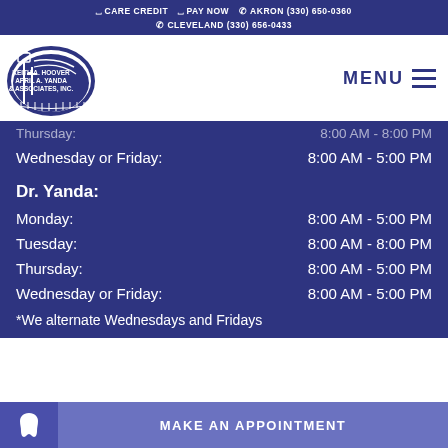CARE CREDIT  PAY NOW  AKRON (330) 650-0360  CLEVELAND (330) 656-0433
[Figure (logo): Keith A. Hoover, April A. Yanda & Associates, Inc. dental practice logo - oval shaped with a lantern and cross graphic]
Thursday: 8:00 AM - 8:00 PM
Wednesday or Friday: 8:00 AM - 5:00 PM
Dr. Yanda:
Monday: 8:00 AM - 5:00 PM
Tuesday: 8:00 AM - 8:00 PM
Thursday: 8:00 AM - 5:00 PM
Wednesday or Friday: 8:00 AM - 5:00 PM
*We alternate Wednesdays and Fridays
MAKE AN APPOINTMENT